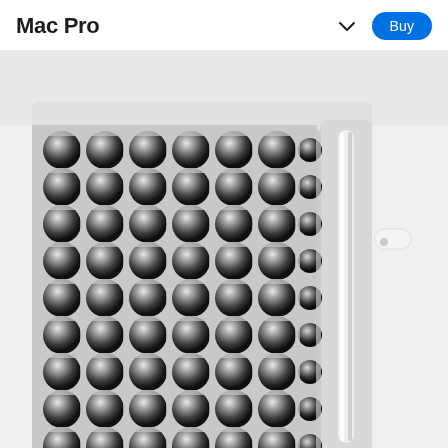Mac Pro
[Figure (photo): Close-up photo of a Mac Pro computer showing its distinctive stainless steel lattice grille pattern with spherical ventilation holes in a grid formation, and the vertical handle/rail on the right side of the chassis. The background is light gray.]